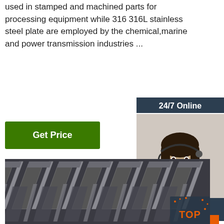used in stamped and machined parts for processing equipment while 316 316L stainless steel plate are employed by the chemical,marine and power transmission industries ...
Get Price
24/7 Online
[Figure (photo): Customer service representative wearing headset, smiling]
Click here for free chat !
QUOTATION
[Figure (photo): Close-up of stacked steel beams / angle iron structural steel sections, dark metallic color]